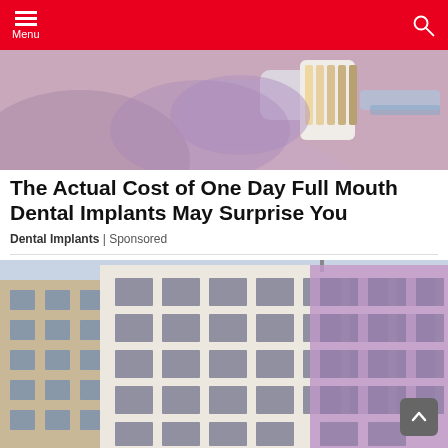Menu
[Figure (photo): Close-up of a dental professional in purple gloves holding a dental shade guide near dental equipment]
The Actual Cost of One Day Full Mouth Dental Implants May Surprise You
Dental Implants | Sponsored
[Figure (photo): Exterior view of multi-story residential apartment buildings in beige, white, and purple colors against a light blue sky]